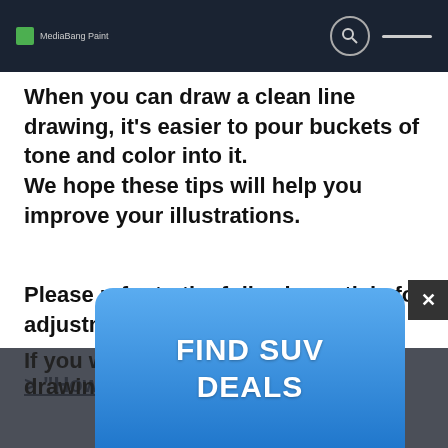MediaBang Paint
When you can draw a clean line drawing, it's easier to pour buckets of tone and color into it. We hope these tips will help you improve your illustrations.
Please refer to the following article for adjustment of pouring.
> “How to use “Close Gaps”
If you w... drawin...
[Figure (other): Blue advertisement overlay button with text FIND SUV DEALS and a close X button]